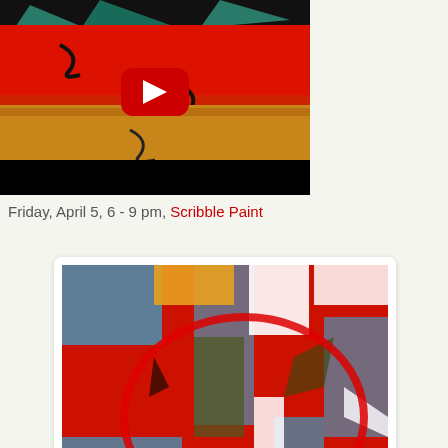[Figure (screenshot): YouTube video thumbnail showing abstract painting with red and orange/tan colors, with a YouTube play button overlay]
Friday, April 5, 6 - 9 pm, Scribble Paint
[Figure (photo): Abstract painting with red, blue/teal, orange, yellow, white and dark colors in an energetic composition inside a white card]
[Figure (photo): Abstract painting with warm brown and orange tones, partially visible at bottom of page]